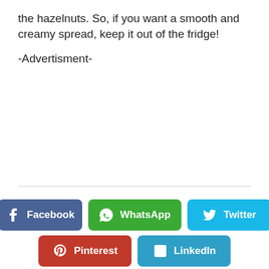the hazelnuts. So, if you want a smooth and creamy spread, keep it out of the fridge!
-Advertisment-
[Figure (other): Social sharing buttons: Facebook (blue-grey), WhatsApp (green), Twitter (light blue), Pinterest (red), LinkedIn (blue)]